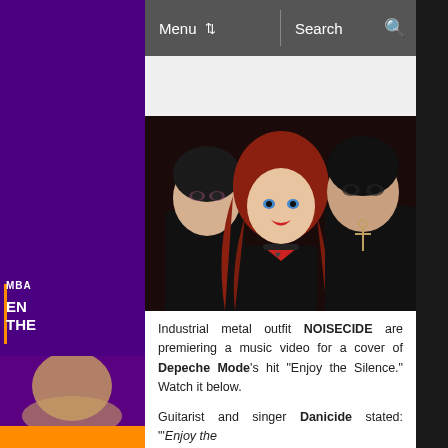Menu  Search
[Figure (photo): Three members of industrial metal band NOISECIDE posed against a dark background. Center: a woman with long red hair wearing a black leather outfit and choker. Left: a man in a black shirt. Right: a man in a black t-shirt with a cross necklace.]
Industrial metal outfit NOISECIDE are premiering a music video for a cover of Depeche Mode's hit “Enjoy the Silence.” Watch it below.
Guitarist and singer Danicide stated: "‘Enjoy the